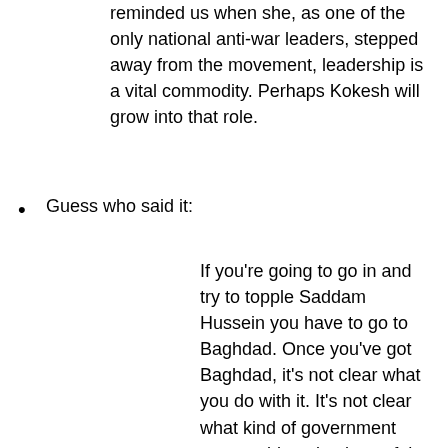reminded us when she, as one of the only national anti-war leaders, stepped away from the movement, leadership is a vital commodity. Perhaps Kokesh will grow into that role.
Guess who said it:
If you're going to go in and try to topple Saddam Hussein you have to go to Baghdad. Once you've got Baghdad, it's not clear what you do with it. It's not clear what kind of government you would put in place of the one that's currently there now. Is it going to be a Shia regime, a Sunni regime or a Kurdish regime? Or one that tilts toward the Baathists, or one that tilts toward the Islamic fundamentalists? How much credibility is that government going to have if it's set up by the United States military when it's there? How long